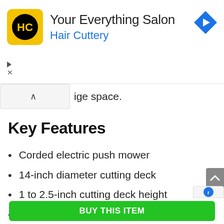[Figure (screenshot): Hair Cuttery advertisement banner. Yellow square logo with 'HC' initials in black circle. Text reads 'Your Everything Salon' and 'Hair Cuttery' in blue. Blue diamond navigation arrow icon on right.]
ige space.
Key Features
Corded electric push mower
14-inch diameter cutting deck
1 to 2.5-inch cutting deck height
11 Amp electric motor
Connects to a 50-foot extension cord